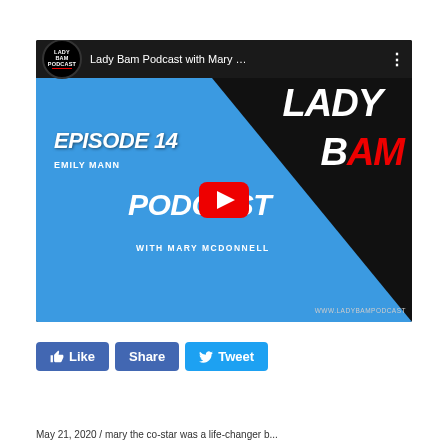[Figure (screenshot): YouTube embedded video thumbnail for Lady Bam Podcast with Mary McDonnell, Episode 14 featuring Emily Mann. Blue background with dark geometric triangle shape, white bold italic text reading LADY BAM PODCAST, EPISODE 14, EMILY MANN, WITH MARY MCDONNELL, www.ladybampodcast. YouTube play button (red) centered.]
[Figure (screenshot): Social media buttons row: Facebook Like button (blue), Facebook Share button (blue), Twitter Tweet button (light blue with bird icon)]
May 21, 2020 / mary the co-star was a life-changer b...